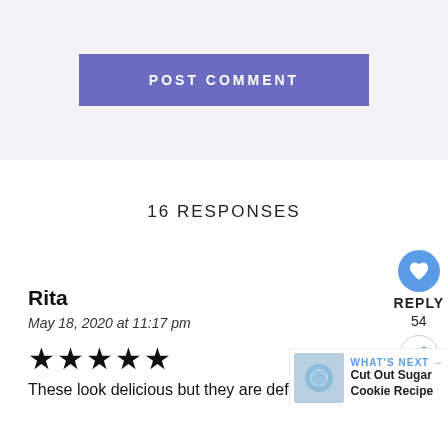[Figure (screenshot): POST COMMENT button, purple/blue rounded rectangle]
16 RESPONSES
REPLY
54
Rita
May 18, 2020 at 11:17 pm
[Figure (other): Five black star rating]
These look delicious but they are definitely not
[Figure (screenshot): WHAT'S NEXT widget with cookie image, Cut Out Sugar Cookie Recipe]